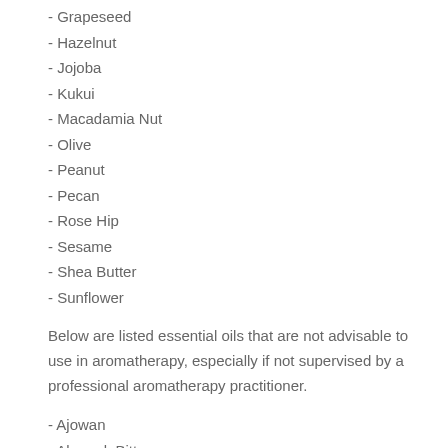- Grapeseed
- Hazelnut
- Jojoba
- Kukui
- Macadamia Nut
- Olive
- Peanut
- Pecan
- Rose Hip
- Sesame
- Shea Butter
- Sunflower
Below are listed essential oils that are not advisable to use in aromatherapy, especially if not supervised by a professional aromatherapy practitioner.
- Ajowan
- Almond, Bitter
- Arnica